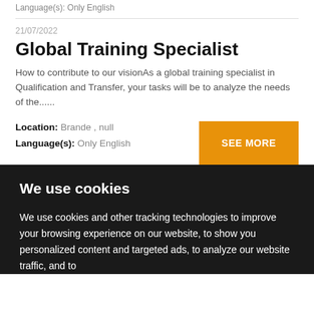Language(s): Only English
21/07/2022
Global Training Specialist
How to contribute to our visionAs a global training specialist in Qualification and Transfer, your tasks will be to analyze the needs of the......
Location: Brande , null
Language(s): Only English
SEE MORE
We use cookies
We use cookies and other tracking technologies to improve your browsing experience on our website, to show you personalized content and targeted ads, to analyze our website traffic, and to